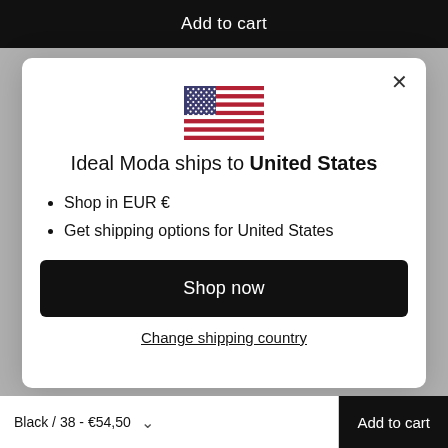Add to cart
[Figure (illustration): US flag emoji/icon centered in modal]
Ideal Moda ships to United States
Shop in EUR €
Get shipping options for United States
Shop now
Change shipping country
Black / 38 - €54,50   Add to cart